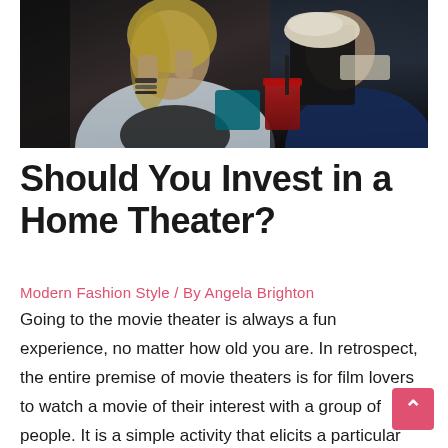[Figure (photo): Two women at a movie theater, one covering her face with hands appearing scared/excited, wearing a light denim jacket and bracelets. Another person holds a large popcorn bucket and drink. Dark theater atmosphere.]
Should You Invest in a Home Theater?
Modern Fashion Style / By Angela Brighton
Going to the movie theater is always a fun experience, no matter how old you are. In retrospect, the entire premise of movie theaters is for film lovers to watch a movie of their interest with a group of people. It is a simple activity that elicits a particular type of enjoyment. And while the theater experience can be delightful, it is not something you often